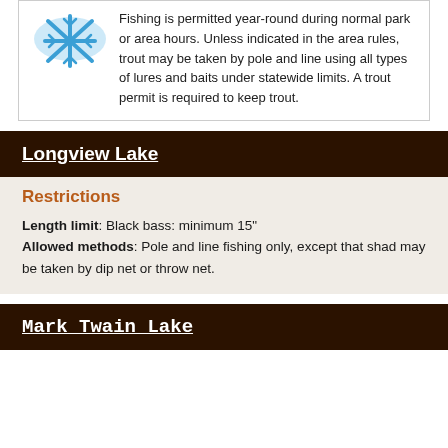[Figure (illustration): Snowflake icon in blue with light blue background shape]
Fishing is permitted year-round during normal park or area hours. Unless indicated in the area rules, trout may be taken by pole and line using all types of lures and baits under statewide limits. A trout permit is required to keep trout.
Longview Lake
Restrictions
Length limit: Black bass: minimum 15"
Allowed methods: Pole and line fishing only, except that shad may be taken by dip net or throw net.
Mark Twain Lake